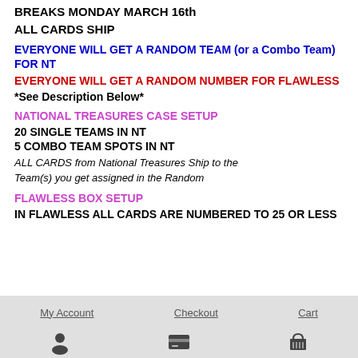BREAKS MONDAY MARCH 16th
ALL CARDS SHIP
EVERYONE WILL GET A RANDOM TEAM (or a Combo Team) FOR NT
EVERYONE WILL GET A RANDOM NUMBER FOR FLAWLESS
*See Description Below*
NATIONAL TREASURES CASE SETUP
20 SINGLE TEAMS IN NT
5 COMBO TEAM SPOTS IN NT
ALL CARDS from National Treasures Ship to the Team(s) you get assigned in the Random
FLAWLESS BOX SETUP
IN FLAWLESS ALL CARDS ARE NUMBERED TO 25 OR LESS
My Account   Checkout   Cart